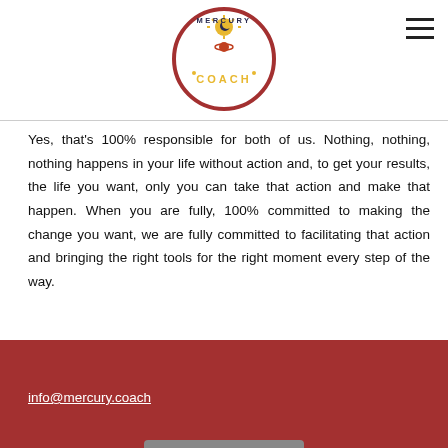[Figure (logo): Mercury Coach circular logo with sun and planet imagery, dark red border]
Yes, that's 100% responsible for both of us. Nothing, nothing, nothing happens in your life without action and, to get your results, the life you want, only you can take that action and make that happen. When you are fully, 100% committed to making the change you want, we are fully committed to facilitating that action and bringing the right tools for the right moment every step of the way.
info@mercury.coach